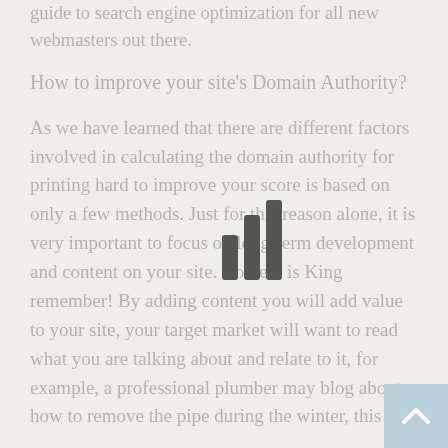guide to search engine optimization for all new webmasters out there.
How to improve your site's Domain Authority?
As we have learned that there are different factors involved in calculating the domain authority for printing hard to improve your score is based on only a few methods. Just for this reason alone, it is very important to focus on long-term development and content on your site. Content is King remember! By adding content you will add value to your site, your target market will want to read what you are talking about and relate to it, for example, a professional plumber may blog about how to remove the pipe during the winter, this is
[Figure (other): Signal/loading bar icon overlay in the middle of the text]
[Figure (other): Back to top button - light blue square with upward arrow chevron in bottom right corner]